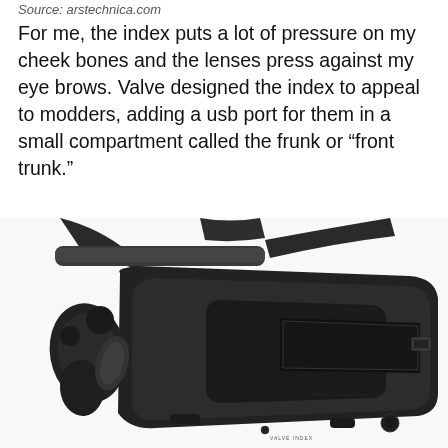Source: arstechnica.com
For me, the index puts a lot of pressure on my cheek bones and the lenses press against my eye brows. Valve designed the index to appeal to modders, adding a usb port for them in a small compartment called the frunk or “front trunk.”
[Figure (photo): Photo of the Valve Index VR headset showing the front of the headset with visible speaker grille, frunk compartment with USB port, head strap, and controller visible on the left side. The headset is dark gray/black and shown at an angle against a white background.]